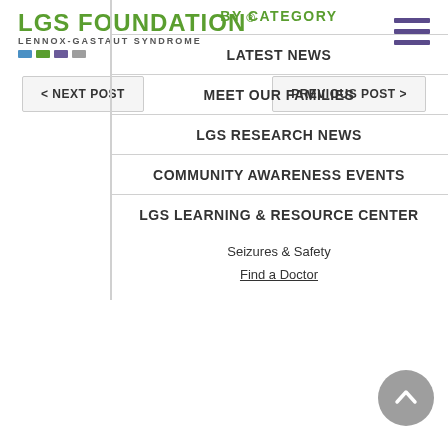LGS FOUNDATION® LENNOX-GASTAUT SYNDROME
< NEXT POST
PREVIOUS POST >
BY CATEGORY
LATEST NEWS
MEET OUR FAMILIES
LGS RESEARCH NEWS
COMMUNITY AWARENESS EVENTS
LGS LEARNING & RESOURCE CENTER
Seizures & Safety
Find a Doctor